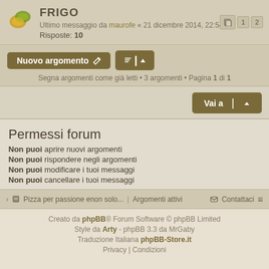FRIGO
Ultimo messaggio da maurofe « 21 dicembre 2014, 22:54
Risposte: 10
Nuovo argomento
Segna argomenti come già letti • 3 argomenti • Pagina 1 di 1
Vai a
Permessi forum
Non puoi aprire nuovi argomenti
Non puoi rispondere negli argomenti
Non puoi modificare i tuoi messaggi
Non puoi cancellare i tuoi messaggi
> Pizza per passione enon solo... Argomenti attivi Contattaci
Creato da phpBB® Forum Software © phpBB Limited
Style da Arty - phpBB 3.3 da MrGaby
Traduzione Italiana phpBB-Store.it
Privacy | Condizioni